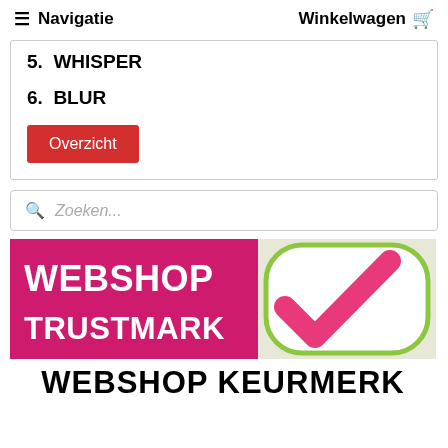≡ Navigatie   Winkelwagen 🛒
5. WHISPER
6. BLUR
Overzicht
Zoeken...
[Figure (logo): Webshop Trustmark / Webshop Keurmerk logo with pink background, white text WEBSHOP TRUSTMARK, and a pink checkmark in a white rounded rectangle with green border. Below: WEBSHOP KEURMERK in black text.]